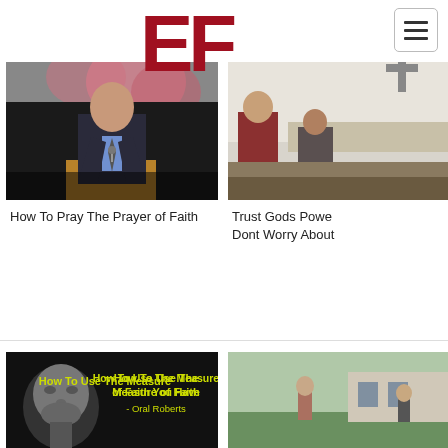[Figure (logo): EF logo in dark red/maroon block letters]
[Figure (screenshot): Mobile website navigation menu button (hamburger icon) in top right]
[Figure (photo): Video thumbnail: man in suit speaking at podium with flowers in background]
How To Pray The Prayer of Faith
[Figure (photo): Video thumbnail: people seated in a church/worship setting]
Trust Gods Powe
Dont Worry About
[Figure (photo): Video thumbnail: black and white photo of Oral Roberts with yellow text 'How To Use The Measure of Faith You Have - Oral Roberts']
[Figure (photo): Video thumbnail: outdoor scene with person and building]